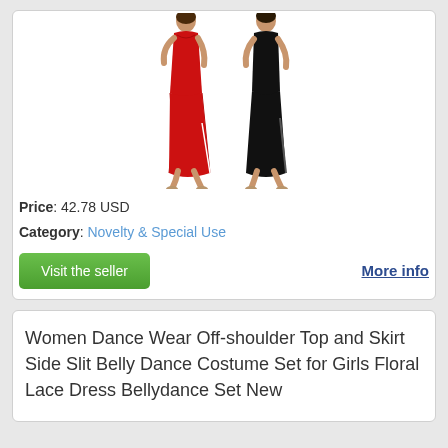[Figure (photo): Two women modeling dance dresses - one in red, one in black. Both are form-fitting dresses with side slits.]
Price: 42.78 USD
Category: Novelty & Special Use
Visit the seller
More info
Women Dance Wear Off-shoulder Top and Skirt Side Slit Belly Dance Costume Set for Girls Floral Lace Dress Bellydance Set New